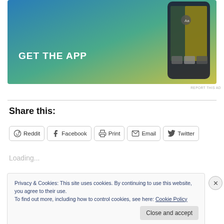[Figure (screenshot): Mobile app advertisement banner with gradient background (blue to teal to yellow), text 'GET THE APP', and a phone mockup on the right side.]
REPORT THIS AD
Share this:
Reddit  Facebook  Print  Email  Twitter
Loading...
Privacy & Cookies: This site uses cookies. By continuing to use this website, you agree to their use.
To find out more, including how to control cookies, see here: Cookie Policy
Close and accept